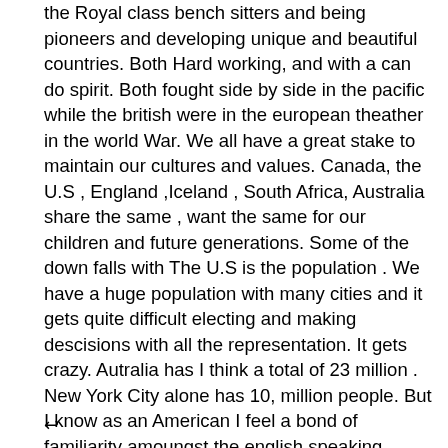the Royal class bench sitters and being pioneers and developing unique and beautiful countries. Both Hard working, and with a can do spirit. Both fought side by side in the pacific while the british were in the european theather in the world War. We all have a great stake to maintain our cultures and values. Canada, the U.S , England ,Iceland , South Africa, Australia share the same , want the same for our children and future generations. Some of the down falls with The U.S is the population . We have a huge population with many cities and it gets quite difficult electing and making descisions with all the representation. It gets crazy. Autralia has I think a total of 23 million . New York City alone has 10, million people. But I know as an American I feel a bond of familiarity amoungst the english speaking countries . We pulled away from the crown and proved ourselves better. I think
↩